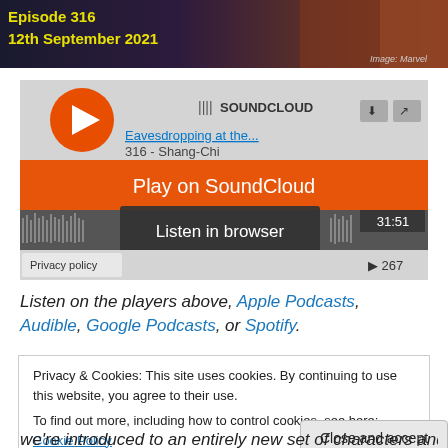[Figure (screenshot): Banner image showing Episode 316, 12th September 2021 with Marvel image credit]
[Figure (screenshot): SoundCloud embedded player showing Eavesdropping at the... 316 - Shang-Chi with Play on SoundCloud and Listen in browser overlay buttons, 31:51 duration, 267 plays, Privacy policy link]
Listen on the players above, Apple Podcasts, Audible, Google Podcasts, or Spotify.
Privacy & Cookies: This site uses cookies. By continuing to use this website, you agree to their use.
To find out more, including how to control cookies, see here: Cookie Policy
Close and accept
we're introduced to an entirely new set of characters and